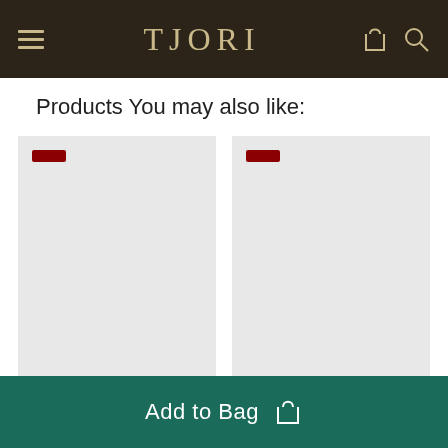TJORI
Products You may also like:
[Figure (other): Product card placeholder 1 with dark red badge]
[Figure (other): Product card placeholder 2 with dark red badge]
Add to Bag